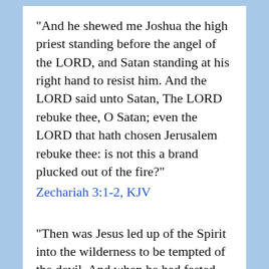"And he shewed me Joshua the high priest standing before the angel of the LORD, and Satan standing at his right hand to resist him. And the LORD said unto Satan, The LORD rebuke thee, O Satan; even the LORD that hath chosen Jerusalem rebuke thee: is not this a brand plucked out of the fire?"
Zechariah 3:1-2, KJV
"Then was Jesus led up of the Spirit into the wilderness to be tempted of the devil. And when he had fasted forty days and forty nights, he was afterward an hungred. And when the tempter came to him, he said, If thou be the Son of God, command that these stones be made bread. But he